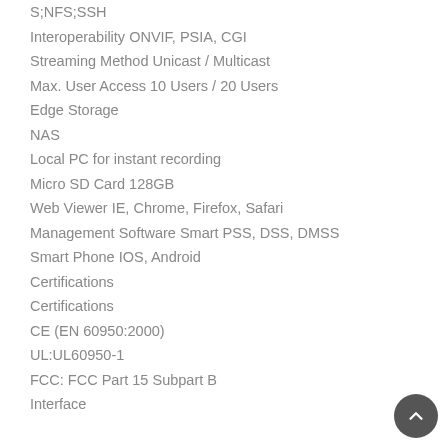S;NFS;SSH
Interoperability ONVIF, PSIA, CGI
Streaming Method Unicast / Multicast
Max. User Access 10 Users / 20 Users
Edge Storage
NAS
Local PC for instant recording
Micro SD Card 128GB
Web Viewer IE, Chrome, Firefox, Safari
Management Software Smart PSS, DSS, DMSS
Smart Phone IOS, Android
Certifications
Certifications
CE (EN 60950:2000)
UL:UL60950-1
FCC: FCC Part 15 Subpart B
Interface